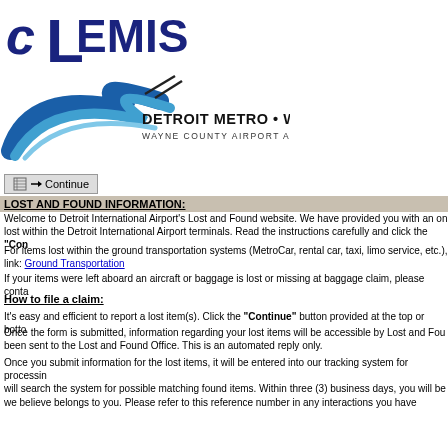[Figure (logo): CLEMIS logo with stylized text in dark blue, large L dominating the center]
[Figure (logo): Detroit Metro Willow Run Wayne County Airport Authority logo with blue swoosh graphic]
Continue button
LOST AND FOUND INFORMATION:
Welcome to Detroit International Airport's Lost and Found website. We have provided you with an online form to report items lost within the Detroit International Airport terminals. Read the instructions carefully and click the "Continue" button.
For items lost within the ground transportation systems (MetroCar, rental car, taxi, limo service, etc.), please use the following link: Ground Transportation
If your items were left aboard an aircraft or baggage is lost or missing at baggage claim, please contact your airline directly.
How to file a claim:
It's easy and efficient to report a lost item(s). Click the "Continue" button provided at the top or bottom of this page.
Once the form is submitted, information regarding your lost items will be accessible by Lost and Found staff. A confirmation number will have been sent to the Lost and Found Office. This is an automated reply only.
Once you submit information for the lost items, it will be entered into our tracking system for processing. Lost and Found staff will search the system for possible matching found items. Within three (3) business days, you will be contacted if we find an item we believe belongs to you. Please refer to this reference number in any interactions you have with Lost and Found.